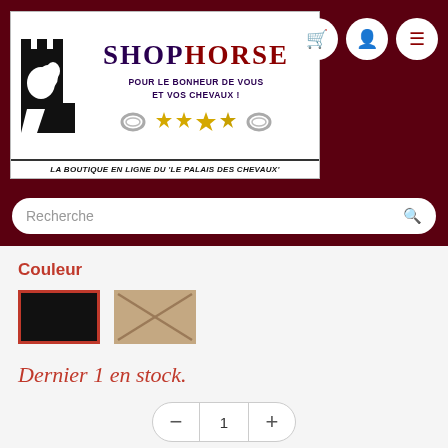[Figure (logo): ShopHorse logo with chess knight castle icon, shop name and tagline 'POUR LE BONHEUR DE VOUS ET VOS CHEVAUX!', decorative stars and horseshoe rings, and text 'LA BOUTIQUE EN LIGNE DU LE PALAIS DES CHEVAUX']
Recherche
Couleur
[Figure (illustration): Two color swatches: black (selected with red border) and tan/beige with X pattern]
Dernier 1 en stock.
1
€45,95